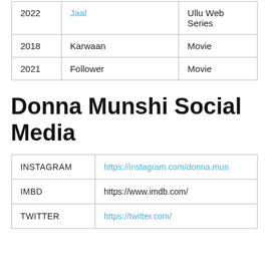| Year | Title | Type |
| --- | --- | --- |
| 2022 | Jaal | Ullu Web Series |
| 2018 | Karwaan | Movie |
| 2021 | Follower | Movie |
Donna Munshi Social Media
| Platform | URL |
| --- | --- |
| INSTAGRAM | https://instagram.com/donna.mun |
| IMBD | https://www.imdb.com/ |
| TWITTER | https://twitter.com/ |